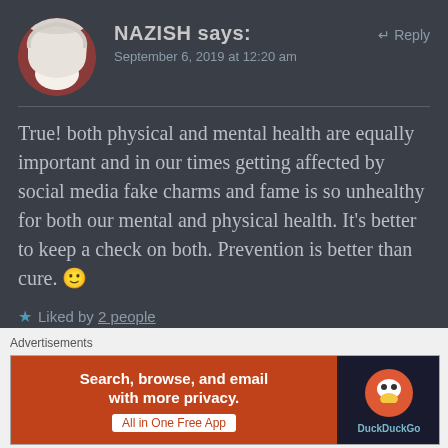[Figure (photo): Circular avatar photo of a woman wearing a white hijab, with a red background]
NAZISH says:
↵ Reply
September 6, 2019 at 12:20 am
True! both physical and mental health are equally important and in our times getting affected by social media fake charms and fame is so unhealthy for both our mental and physical health. It's better to keep a check on both. Prevention is better than cure. 🙂
★ Liked by 2 people
Advertisements
[Figure (screenshot): DuckDuckGo advertisement banner: orange section with text 'Search, browse, and email with more privacy. All in One Free App' and dark section with DuckDuckGo duck logo and brand name]